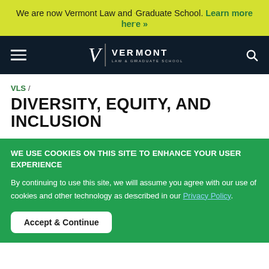We are now Vermont Law and Graduate School. Learn more here »
[Figure (logo): Vermont Law & Graduate School logo with hamburger menu and search icon on dark navy navigation bar]
VLS /
DIVERSITY, EQUITY, AND INCLUSION
WE USE COOKIES ON THIS SITE TO ENHANCE YOUR USER EXPERIENCE
By continuing to use this site, we will assume you agree with our use of cookies and other technology as described in our Privacy Policy.
Accept & Continue